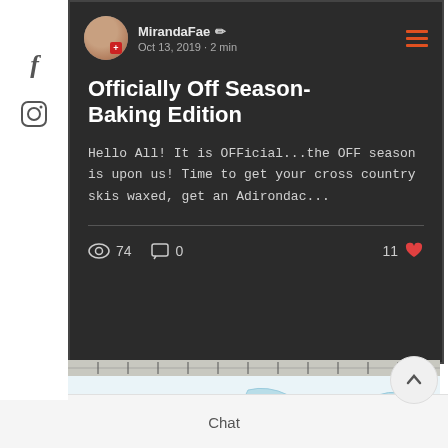[Figure (screenshot): Facebook and Instagram social media icons in left sidebar]
MirandaFae ✏  Oct 13, 2019 · 2 min
Officially Off Season-Baking Edition
Hello All! It is OFFicial...the OFF season is upon us! Time to get your cross country skis waxed, get an Adirondac...
👁 74   💬 0   11 ♥
[Figure (map): Partial map showing Tupper Lake area with ruler scale bar at top]
Chat